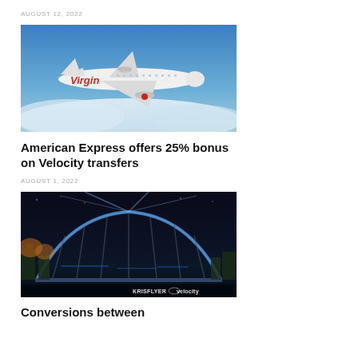AUGUST 12, 2022
[Figure (photo): Virgin Australia airplane in flight against blue sky]
American Express offers 25% bonus on Velocity transfers
AUGUST 1, 2022
[Figure (photo): Sydney Harbour Bridge illuminated at night with KrisFlyer and Velocity logos]
Conversions between